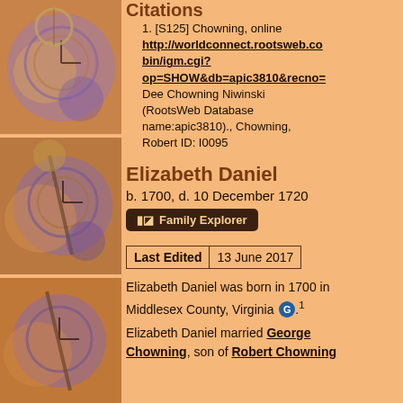[Figure (illustration): Decorative image showing magnifying glass over clock face with purple and orange tones - top]
[Figure (illustration): Decorative image showing magnifying glass over clock face with purple and orange tones - middle]
[Figure (illustration): Decorative image showing magnifying glass over clock face with purple and orange tones - bottom partial]
Citations
[S125] Chowning, online http://worldconnect.rootsweb.com/cgi-bin/igm.cgi?op=SHOW&db=apic3810&recno= Dee Chowning Niwinski (RootsWeb Database name:apic3810)., Chowning, Robert ID: I0095
Elizabeth Daniel
b. 1700, d. 10 December 1720
Family Explorer
| Last Edited | 13 June 2017 |
| --- | --- |
Elizabeth Daniel was born in 1700 in Middlesex County, Virginia G .1
Elizabeth Daniel married George Chowning, son of Robert Chowning